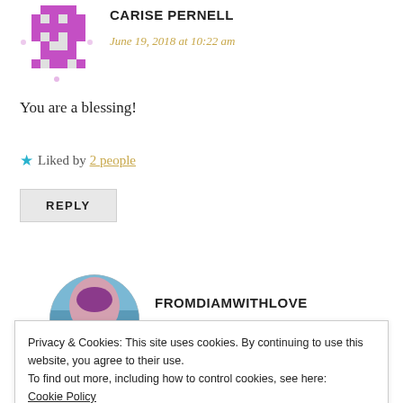[Figure (illustration): Purple pixel/mosaic style avatar icon for user Carise Pernell]
CARISE PERNELL
June 19, 2018 at 10:22 am
You are a blessing!
★ Liked by 2 people
REPLY
[Figure (photo): Circular profile photo of a person with purple hair against a coastal/water background for user FROMDIAMWITHLOVE]
FROMDIAMWITHLOVE
Privacy & Cookies: This site uses cookies. By continuing to use this website, you agree to their use.
To find out more, including how to control cookies, see here:
Cookie Policy
Close and accept
REPLY